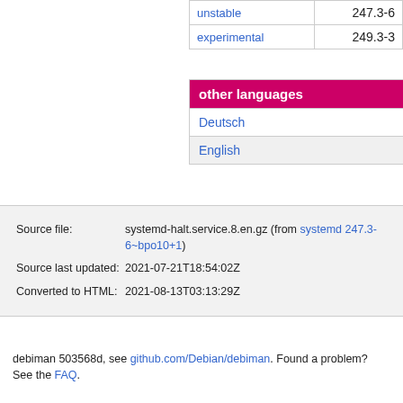| unstable | 247.3-6 |
| experimental | 249.3-3 |
other languages
Deutsch
English
| Source file: | systemd-halt.service.8.en.gz (from systemd 247.3-6~bpo10+1) |
| Source last updated: | 2021-07-21T18:54:02Z |
| Converted to HTML: | 2021-08-13T03:13:29Z |
debiman 503568d, see github.com/Debian/debiman. Found a problem? See the FAQ.